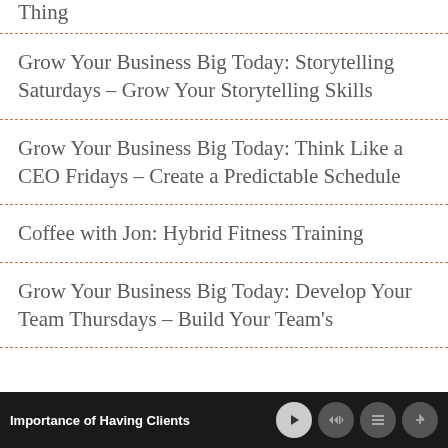Thing
Grow Your Business Big Today: Storytelling Saturdays – Grow Your Storytelling Skills
Grow Your Business Big Today: Think Like a CEO Fridays – Create a Predictable Schedule
Coffee with Jon: Hybrid Fitness Training
Grow Your Business Big Today: Develop Your Team Thursdays – Build Your Team's
Importance of Having Clients